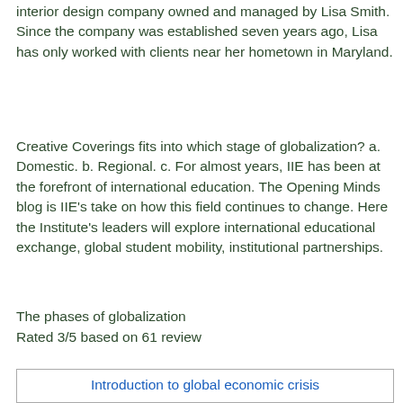interior design company owned and managed by Lisa Smith. Since the company was established seven years ago, Lisa has only worked with clients near her hometown in Maryland.
Creative Coverings fits into which stage of globalization? a. Domestic. b. Regional. c. For almost years, IIE has been at the forefront of international education. The Opening Minds blog is IIE's take on how this field continues to change. Here the Institute's leaders will explore international educational exchange, global student mobility, institutional partnerships.
The phases of globalization
Rated 3/5 based on 61 review
Introduction to global economic crisis